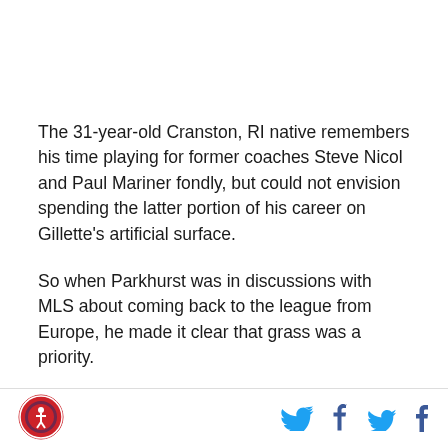The 31-year-old Cranston, RI native remembers his time playing for former coaches Steve Nicol and Paul Mariner fondly, but could not envision spending the latter portion of his career on Gillette's artificial surface.
So when Parkhurst was in discussions with MLS about coming back to the league from Europe, he made it clear that grass was a priority.
"I really at that point in my career did not want to play
[Figure (logo): Circular red and blue sports logo in footer]